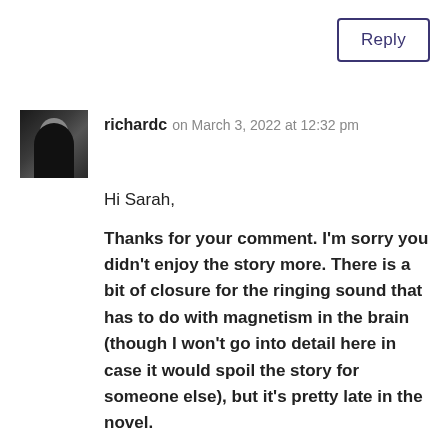Reply
richardc on March 3, 2022 at 12:32 pm
Hi Sarah,

Thanks for your comment. I'm sorry you didn't enjoy the story more. There is a bit of closure for the ringing sound that has to do with magnetism in the brain (though I won't go into detail here in case it would spoil the story for someone else), but it's pretty late in the novel.

I am curious about the anti-left political banter you mentioned. For sure there